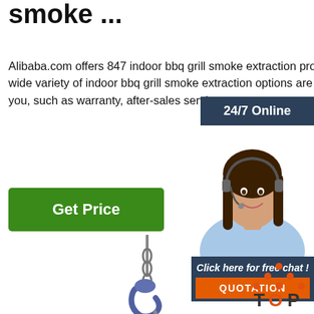smoke ...
Alibaba.com offers 847 indoor bbq grill smoke extraction products. A wide variety of indoor bbq grill smoke extraction options are available to you, such as warranty, after-sales service pro...
Get Price
24/7 Online
[Figure (photo): Customer service agent woman with headset smiling]
Click here for free chat !
QUOTATION
[Figure (photo): Steel I-beam being lifted by a crane hook with chain]
[Figure (logo): TOP badge with orange triangle dots and text TOP]